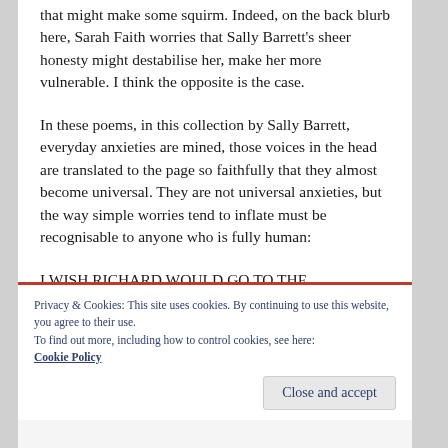that might make some squirm. Indeed, on the back blurb here, Sarah Faith worries that Sally Barrett's sheer honesty might destabilise her, make her more vulnerable. I think the opposite is the case.
In these poems, in this collection by Sally Barrett, everyday anxieties are mined, those voices in the head are translated to the page so faithfully that they almost become universal. They are not universal anxieties, but the way simple worries tend to inflate must be recognisable to anyone who is fully human:
I WISH RICHARD WOULD GO TO THE
Privacy & Cookies: This site uses cookies. By continuing to use this website, you agree to their use.
To find out more, including how to control cookies, see here: Cookie Policy
Close and accept